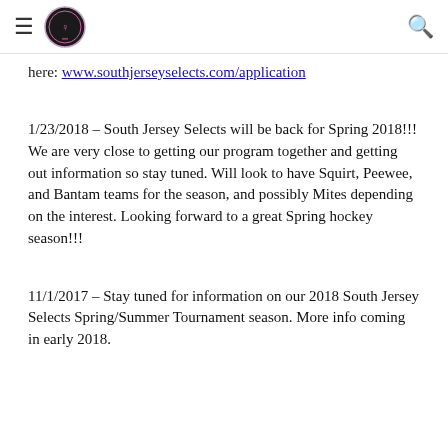≡ [South Jersey Selects Logo] 🔍
here: www.southjerseyselects.com/application
1/23/2018 – South Jersey Selects will be back for Spring 2018!!! We are very close to getting our program together and getting out information so stay tuned. Will look to have Squirt, Peewee, and Bantam teams for the season, and possibly Mites depending on the interest. Looking forward to a great Spring hockey season!!!
11/1/2017 – Stay tuned for information on our 2018 South Jersey Selects Spring/Summer Tournament season. More info coming in early 2018.